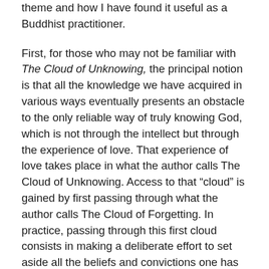theme and how I have found it useful as a Buddhist practitioner.
First, for those who may not be familiar with The Cloud of Unknowing, the principal notion is that all the knowledge we have acquired in various ways eventually presents an obstacle to the only reliable way of truly knowing God, which is not through the intellect but through the experience of love. That experience of love takes place in what the author calls The Cloud of Unknowing. Access to that “cloud” is gained by first passing through what the author calls The Cloud of Forgetting. In practice, passing through this first cloud consists in making a deliberate effort to set aside all the beliefs and convictions one has acquired through indoctrination, teaching, catechism and personal study. All such intellectual knowing is to be put out of one’s mind so that the meditator can sit with a